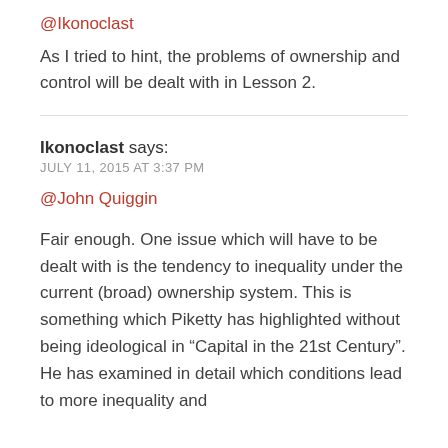@Ikonoclast
As I tried to hint, the problems of ownership and control will be dealt with in Lesson 2.
Ikonoclast says:
JULY 11, 2015 AT 3:37 PM
@John Quiggin
Fair enough. One issue which will have to be dealt with is the tendency to inequality under the current (broad) ownership system. This is something which Piketty has highlighted without being ideological in “Capital in the 21st Century”. He has examined in detail which conditions lead to more inequality and